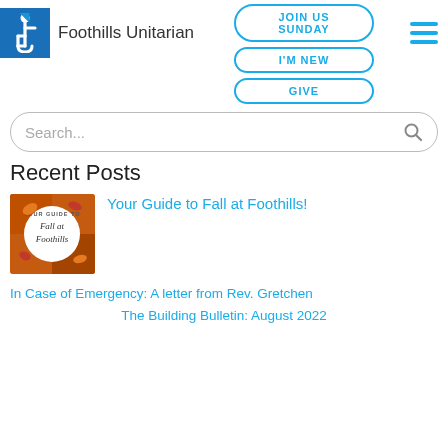[Figure (logo): Accessibility icon in blue square alongside Foothills Unitarian text logo]
[Figure (screenshot): Navigation buttons: JOIN US SUNDAY, I'M NEW, GIVE with hamburger menu icon]
[Figure (screenshot): Search bar with placeholder text Search... and search icon]
Recent Posts
[Figure (illustration): Thumbnail image for 'Your Guide to Fall at Foothills!' post showing fall themed circular badge with cursive text]
Your Guide to Fall at Foothills!
In Case of Emergency: A letter from Rev. Gretchen
The Building Bulletin: August 2022